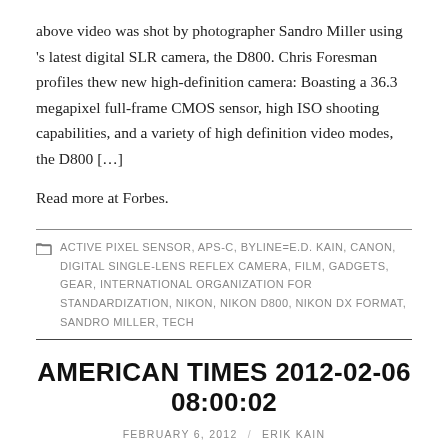above video was shot by photographer Sandro Miller using 's latest digital SLR camera, the D800. Chris Foresman profiles thew new high-definition camera: Boasting a 36.3 megapixel full-frame CMOS sensor, high ISO shooting capabilities, and a variety of high definition video modes, the D800 […]
Read more at Forbes.
ACTIVE PIXEL SENSOR, APS-C, BYLINE=E.D. KAIN, CANON, DIGITAL SINGLE-LENS REFLEX CAMERA, FILM, GADGETS, GEAR, INTERNATIONAL ORGANIZATION FOR STANDARDIZATION, NIKON, NIKON D800, NIKON DX FORMAT, SANDRO MILLER, TECH
AMERICAN TIMES 2012-02-06 08:00:02
FEBRUARY 6, 2012 / ERIK KAIN